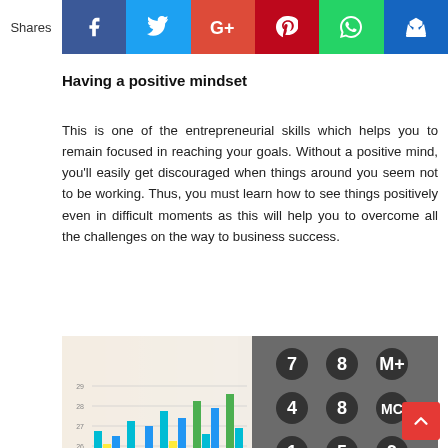Shares | Facebook | Twitter | Google+ | Pinterest | WhatsApp | Crown
Having a positive mindset
This is one of the entrepreneurial skills which helps you to remain focused in reaching your goals. Without a positive mind, you'll easily get discouraged when things around you seem not to be working. Thus, you must learn how to see things positively even in difficult moments as this will help you to overcome all the challenges on the way to business success.
[Figure (photo): A hand holding a pen pointing at a bar chart on paper, with a calculator keyboard visible in the background.]